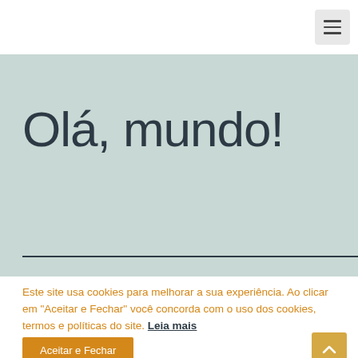[Figure (screenshot): Hamburger menu button (three horizontal lines) in a gray square, top-right corner of the navigation bar]
Olá, mundo!
Este site usa cookies para melhorar a sua experiência. Ao clicar em "Aceitar e Fechar" você concorda com o uso dos cookies, termos e políticas do site. Leia mais
Aceitar e Fechar